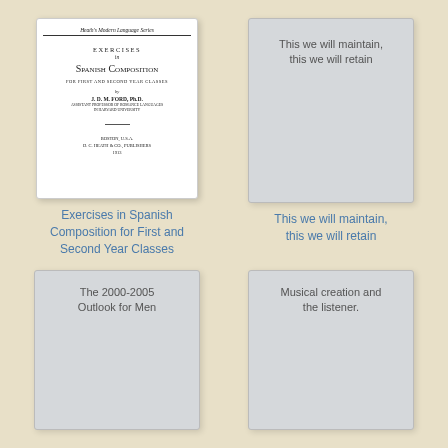[Figure (illustration): Scanned book cover: Heath's Modern Language Series, Exercises in Spanish Composition for First and Second Year Classes, by J.D.M. Ford, Ph.D., Boston D.C. Heath & Co., Publishers]
[Figure (illustration): Gray placeholder card with text: This we will maintain, this we will retain]
Exercises in Spanish Composition for First and Second Year Classes
This we will maintain, this we will retain
[Figure (illustration): Gray placeholder card with text: The 2000-2005 Outlook for Men]
[Figure (illustration): Gray placeholder card with text: Musical creation and the listener.]